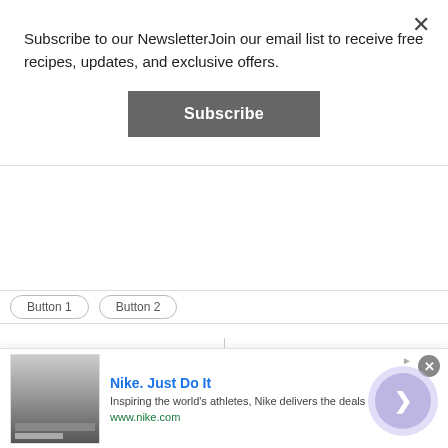Subscribe to our NewsletterJoin our email list to receive free recipes, updates, and exclusive offers.
Subscribe
← PREVIOUS
Creole Shrimp, a delicious recipe
NEXT →
How to make a simple Mustard Dipping Sauce
[Figure (screenshot): Ad banner: Nike. Just Do It — Inspiring the world's athletes, Nike delivers the deals — www.nike.com]
Nike. Just Do It
Inspiring the world's athletes, Nike delivers the deals
www.nike.com